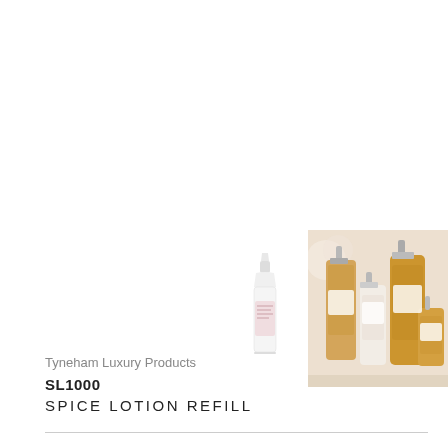[Figure (photo): Single white lotion bottle with pink label and pointed nozzle cap]
[Figure (photo): Group of lotion and soap bottles in cream and amber colors with pump dispensers on light surface]
[Figure (photo): Group of pump dispenser bottles in white and amber against bright window background]
Tyneham Luxury Products
SL1000
SPICE LOTION REFILL